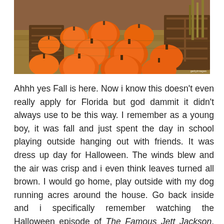[Figure (photo): A photo of many orange pumpkins piled on hay bales and wooden crates at a fall pumpkin patch, with dried corn stalks in the background.]
Ahhh yes Fall is here. Now i know this doesn't even really apply for Florida but god dammit it didn't always use to be this way. I remember as a young boy, it was fall and just spent the day in school playing outside hanging out with friends. It was dress up day for Halloween. The winds blew and the air was crisp and i even think leaves turned all brown. I would go home, play outside with my dog running acres around the house. Go back inside and i specifically remember watching the Halloween episode of The Famous Jett Jackson. That's right. Black teenage espionage Disney movies like you read about. Any ways, it was fall. The Environment was fall. I don't know if its global warming or just growing up but i cling